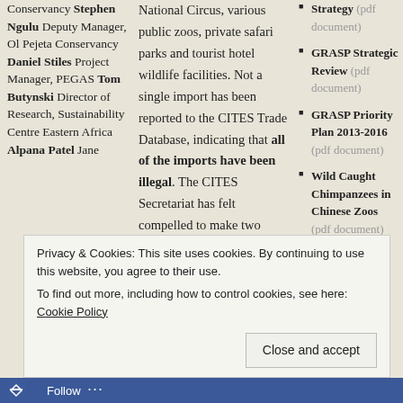Conservancy Stephen Ngulu Deputy Manager, Ol Pejeta Conservancy Daniel Stiles Project Manager, PEGAS Tom Butynski Director of Research, Sustainability Centre Eastern Africa Alpana Patel Jane
National Circus, various public zoos, private safari parks and tourist hotel wildlife facilities. Not a single import has been reported to the CITES Trade Database, indicating that all of the imports have been illegal. The CITES Secretariat has felt compelled to make two visits to Egypt (2007 and 2010) to look into charges of improper imports of great apes. They found many irregularities and recommended that several remedial measures be carried out.
Strategy (pdf document)
GRASP Strategic Review (pdf document)
GRASP Priority Plan 2013-2016 (pdf document)
Wild Caught Chimpanzees in Chinese Zoos (pdf document)
Privacy & Cookies: This site uses cookies. By continuing to use this website, you agree to their use. To find out more, including how to control cookies, see here: Cookie Policy
Close and accept
Follow ...